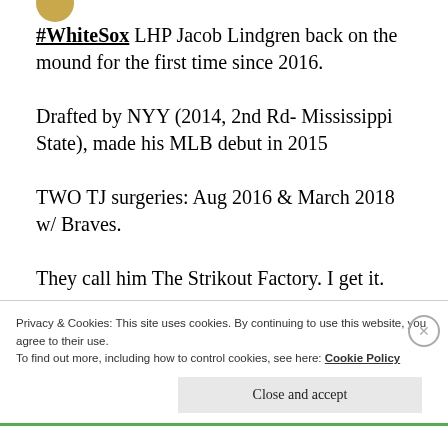[Figure (photo): Circular avatar icon partially visible at top of post]
#WhiteSox LHP Jacob Lindgren back on the mound for the first time since 2016.

Drafted by NYY (2014, 2nd Rd- Mississippi State), made his MLB debut in 2015

TWO TJ surgeries: Aug 2016 & March 2018 w/ Braves.

They call him The Strikout Factory. I get it.

Welcome back, Jacob!
Privacy & Cookies: This site uses cookies. By continuing to use this website, you agree to their use.
To find out more, including how to control cookies, see here: Cookie Policy
Close and accept